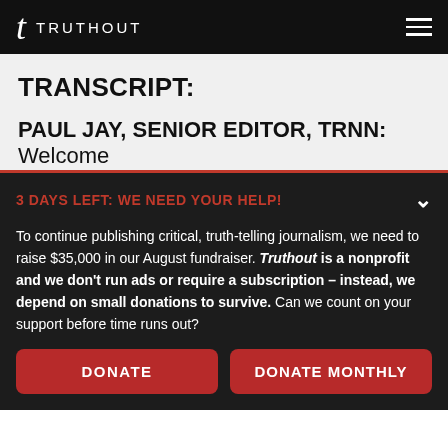TRUTHOUT
TRANSCRIPT:
PAUL JAY, SENIOR EDITOR, TRNN: Welcome
3 DAYS LEFT: WE NEED YOUR HELP!
To continue publishing critical, truth-telling journalism, we need to raise $35,000 in our August fundraiser. Truthout is a nonprofit and we don't run ads or require a subscription – instead, we depend on small donations to survive. Can we count on your support before time runs out?
DONATE
DONATE MONTHLY